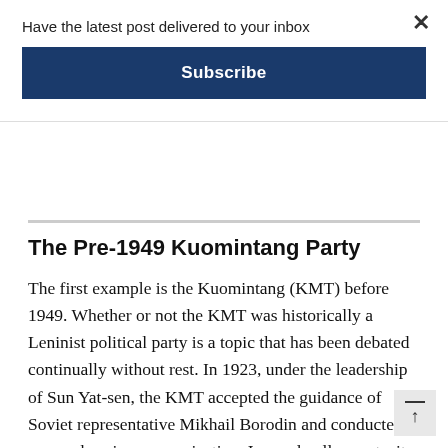Have the latest post delivered to your inbox
Subscribe
The Pre-1949 Kuomintang Party
The first example is the Kuomintang (KMT) before 1949. Whether or not the KMT was historically a Leninist political party is a topic that has been debated continually without rest. In 1923, under the leadership of Sun Yat-sen, the KMT accepted the guidance of Soviet representative Mikhail Borodin and conducted comprehensive reorganization. In nearly all aspects, it was modeled on the Communist Party of the Soviet Union (CPSU), including the p constitution, party membership, party